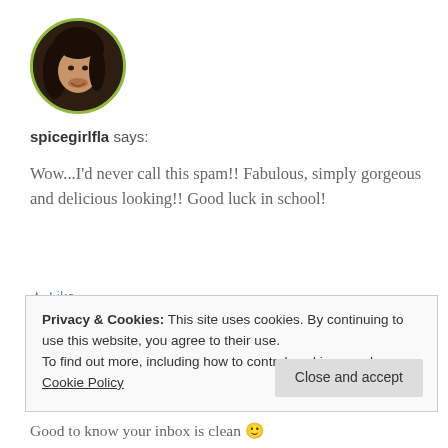[Figure (photo): Circular avatar photo of a woman with dark hair, framed with a green circular border]
spicegirlfla says:
Wow...I'd never call this spam!! Fabulous, simply gorgeous and delicious looking!! Good luck in school!
★ Like
January 27, 2012 at 1:30 pm
« REPLY
Privacy & Cookies: This site uses cookies. By continuing to use this website, you agree to their use.
To find out more, including how to control cookies, see here:
Cookie Policy
Close and accept
Good to know your inbox is clean 😀